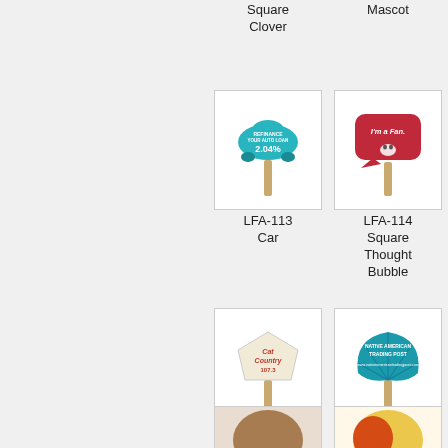Square
Clover
Mascot
[Figure (photo): LFA-113 Car shaped hand fan with teal/blue color showing auto loan refinance ad at 2.04%]
LFA-113
Car
[Figure (photo): LFA-114 Square Thought Bubble shaped hand fan with dark red/crimson color, text reads I'm a Fan.]
LFA-114
Square
Thought
Bubble
[Figure (photo): LFA-121 Gem shaped hand fan with cream/beige color showing Cat Country 107.3 logo]
LFA-121
Gem
[Figure (photo): LFA-122 Shell shaped hand fan with teal color showing Native American Trading Post text]
LFA-122
Shell